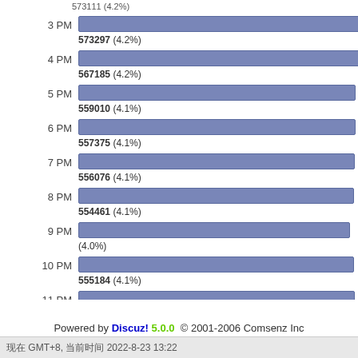[Figure (bar-chart): Hourly bar chart (partial, cropped)]
Powered by Discuz! 5.0.0  © 2001-2006 Comsenz Inc.
现在 GMT+8, 当前时间 2022-8-23 13:22